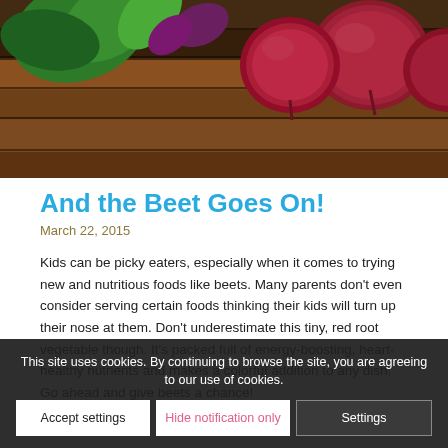[Figure (photo): Close-up photo of red beets with green leaves on a wooden surface]
And the Beet Goes On!
March 22, 2015
Kids can be picky eaters, especially when it comes to trying new and nutritious foods like beets. Many parents don't even consider serving certain foods thinking their kids will turn up their nose at them. Don't underestimate this tiny, red root vegetable though. It's packed full of energy-boosting, heart-healthy nutrients and makes a colorful addition to any dish. Go ahead and give beets a chance!
This site uses cookies. By continuing to browse the site, you are agreeing to our use of cookies.